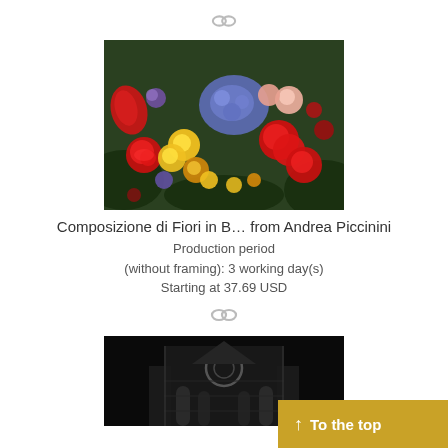[Figure (other): Chain link / infinity icon at top center]
[Figure (photo): Close-up photo of colorful flower arrangement with red roses, yellow flowers, purple flowers, and blue hydrangeas]
Composizione di Fiori in B… from Andrea Piccinini
Production period
(without framing): 3 working day(s)
Starting at 37.69 USD
[Figure (other): Chain link / infinity icon in middle]
[Figure (photo): Black and white night photo of a Gothic cathedral facade]